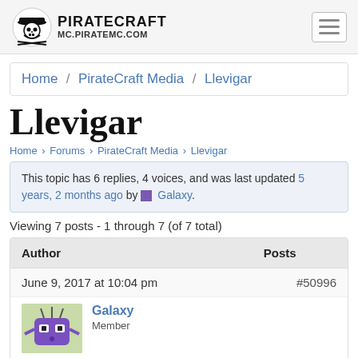PIRATECRAFT MC.PIRATEMC.COM
Home / PirateCraft Media / Llevigar
Llevigar
Home › Forums › PirateCraft Media › Llevigar
This topic has 6 replies, 4 voices, and was last updated 5 years, 2 months ago by Galaxy.
Viewing 7 posts - 1 through 7 (of 7 total)
| Author | Posts |
| --- | --- |
| June 9, 2017 at 10:04 pm | #50996 |
| Galaxy Member |  |